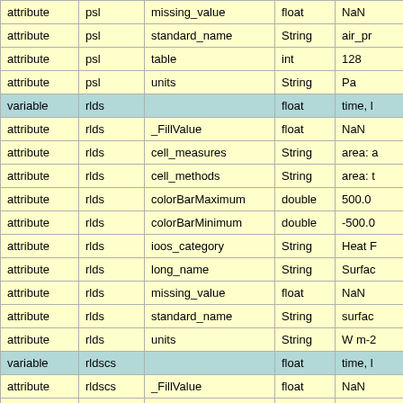|  | psl/rlds/rldscs |  | float/String/int/double |  |
| --- | --- | --- | --- | --- |
| attribute | psl | missing_value | float | NaN |
| attribute | psl | standard_name | String | air_pr |
| attribute | psl | table | int | 128 |
| attribute | psl | units | String | Pa |
| variable | rlds |  | float | time, l |
| attribute | rlds | _FillValue | float | NaN |
| attribute | rlds | cell_measures | String | area: a |
| attribute | rlds | cell_methods | String | area: t |
| attribute | rlds | colorBarMaximum | double | 500.0 |
| attribute | rlds | colorBarMinimum | double | -500.0 |
| attribute | rlds | ioos_category | String | Heat F |
| attribute | rlds | long_name | String | Surfac |
| attribute | rlds | missing_value | float | NaN |
| attribute | rlds | standard_name | String | surfac |
| attribute | rlds | units | String | W m-2 |
| variable | rldscs |  | float | time, l |
| attribute | rldscs | _FillValue | float | NaN |
| attribute | rldscs | cell_measures | String | area: a |
| attribute | rldscs | cell_methods | String | area: t |
| attribute | rldscs | colorBarMaximum | double | 500.0 |